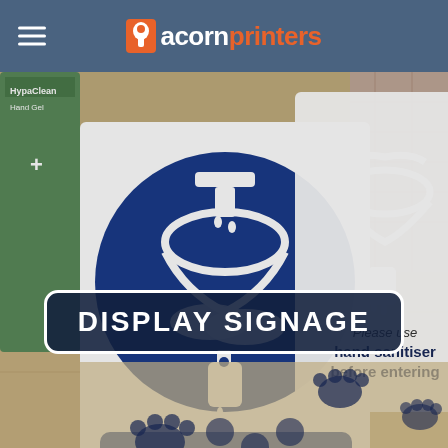acornprinters
[Figure (photo): Photo of display signage products including hand sanitiser signs with blue circular mandatory icons and floor stickers with paw prints on a wooden surface]
DISPLAY SIGNAGE